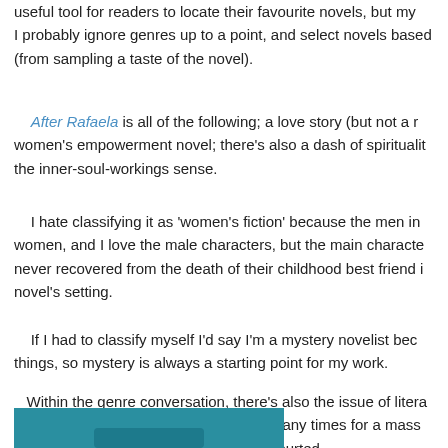useful tool for readers to locate their favourite novels, but my I probably ignore genres up to a point, and select novels based (from sampling a taste of the novel).
After Rafaela is all of the following; a love story (but not a romance); a women's empowerment novel; there's also a dash of spirituality in the inner-soul-workings sense.
I hate classifying it as 'women's fiction' because the men in women, and I love the male characters, but the main characters never recovered from the death of their childhood best friend in the novel's setting.
If I had to classify myself I'd say I'm a mystery novelist because things, so mystery is always a starting point for my work.
Within the genre conversation, there's also the issue of literary a literary novel, despite me rewriting it many times for a mass literary agent who courted
[Figure (photo): Partial photo showing a teal/blue background with a partial figure visible at the bottom of the page.]